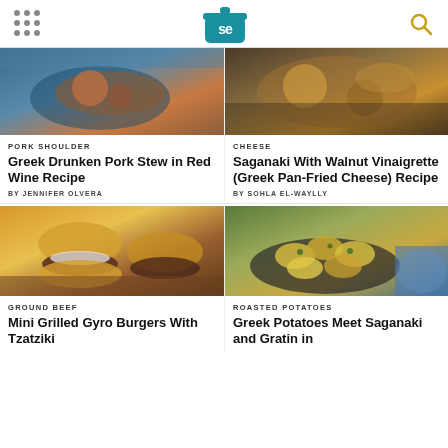Serious Eats
[Figure (photo): Photo of Greek Drunken Pork Stew in a bowl]
PORK SHOULDER
Greek Drunken Pork Stew in Red Wine Recipe
BY JENNIFER OLVERA
[Figure (photo): Photo of Saganaki with Walnut Vinaigrette]
CHEESE
Saganaki With Walnut Vinaigrette (Greek Pan-Fried Cheese) Recipe
BY SOHLA EL-WAYLLY
[Figure (photo): Photo of Mini Grilled Gyro Burgers with Tzatziki]
GROUND BEEF
Mini Grilled Gyro Burgers With Tzatziki
[Figure (photo): Photo of Greek Potatoes Meet Saganaki and Gratin]
ROASTED POTATOES
Greek Potatoes Meet Saganaki and Gratin in